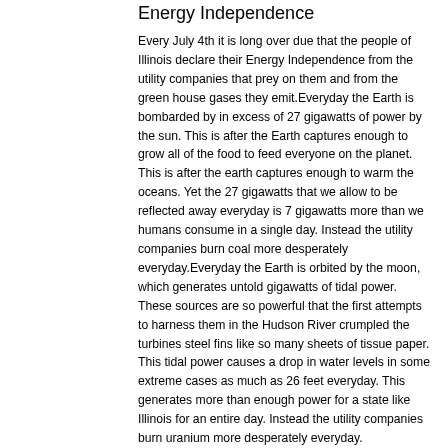Energy Independence
Every July 4th it is long over due that the people of Illinois declare their Energy Independence from the utility companies that prey on them and from the green house gases they emit.Everyday the Earth is bombarded by in excess of 27 gigawatts of power by the sun. This is after the Earth captures enough to grow all of the food to feed everyone on the planet. This is after the earth captures enough to warm the oceans. Yet the 27 gigawatts that we allow to be reflected away everyday is 7 gigawatts more than we humans consume in a single day. Instead the utility companies burn coal more desperately everyday.Everyday the Earth is orbited by the moon, which generates untold gigawatts of tidal power. These sources are so powerful that the first attempts to harness them in the Hudson River crumpled the turbines steel fins like so many sheets of tissue paper. This tidal power causes a drop in water levels in some extreme cases as much as 26 feet everyday. This generates more than enough power for a state like Illinois for an entire day. Instead the utility companies burn uranium more desperately everyday.